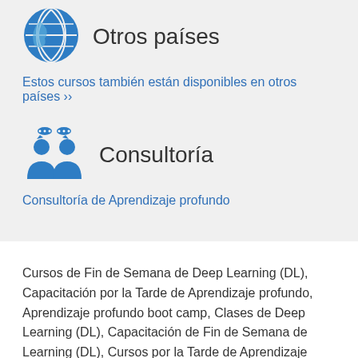Otros países
Estos cursos también están disponibles en otros países ››
Consultoría
Consultoría de Aprendizaje profundo
Cursos de Fin de Semana de Deep Learning (DL), Capacitación por la Tarde de Aprendizaje profundo, Aprendizaje profundo boot camp, Clases de Deep Learning (DL), Capacitación de Fin de Semana de Learning (DL), Cursos por la Tarde de Aprendizaje profundo, Deep Learning (DL) coaching, Instructor ... Aprendizaje profundo, Capacitador de Deep Learning (DL), Aprendizaje profundo con instructor, Cursos de